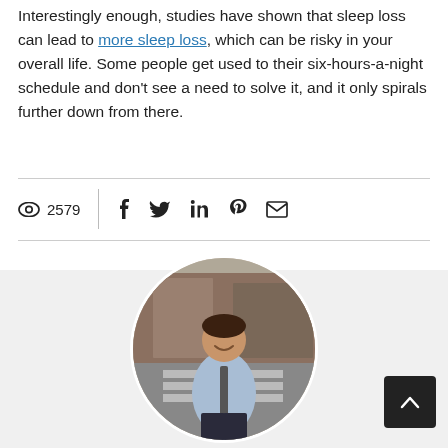Interestingly enough, studies have shown that sleep loss can lead to more sleep loss, which can be risky in your overall life. Some people get used to their six-hours-a-night schedule and don't see a need to solve it, and it only spirals further down from there.
[Figure (other): Social sharing bar with eye/view count (2579) on the left and social media icons (Facebook, Twitter, LinkedIn, Pinterest, Email) on the right, separated by a vertical divider line, bounded by horizontal rules above and below.]
[Figure (photo): Circular cropped photo of a man wearing a light blue dress shirt and dark tie, standing on a crosswalk/street area with buildings in the background.]